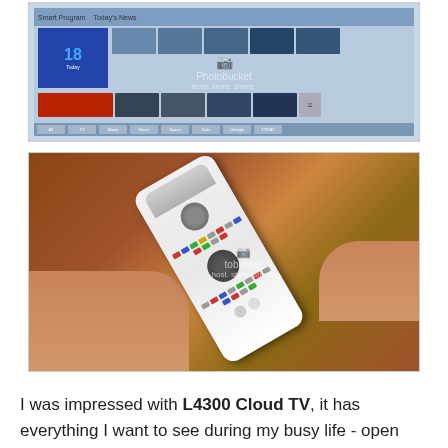[Figure (screenshot): Screenshot of a smart TV interface showing a grid of video thumbnails with the number 18, navigation bar at bottom, and Photobucket watermark overlay]
[Figure (photo): Photo of hands holding a white TV remote control diagonally over a wooden table surface, with Photobucket watermark overlay]
I was impressed with L4300 Cloud TV, it has everything I want to see during my busy life - open browser ready for any request, Netflix, YouTube, Skype with HD TV webcam(see my pretty face) and Calendar, Alerts, cloud messaging and much more.